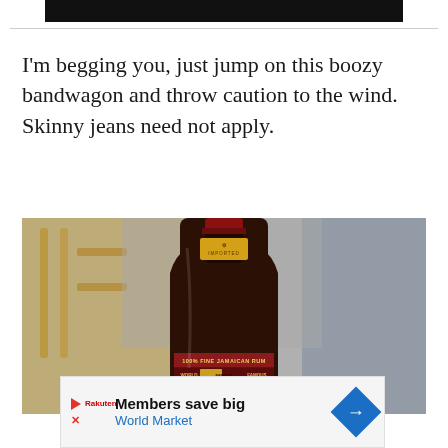[Figure (other): Black header bar at top of page]
I'm begging you, just jump on this boozy bandwagon and throw caution to the wind. Skinny jeans need not apply.
[Figure (photo): Close-up photo of a bottle of Myers's 100% Fine Jamaican Rum with a yellow 'Imported' neck label, set against a blurred kitchen background with a wooden chair visible on the left.]
[Figure (other): Advertisement banner: 'Members save big / World Market' with Rakuten logo, play button, close X button, and a blue diamond-shaped arrow icon on the right.]